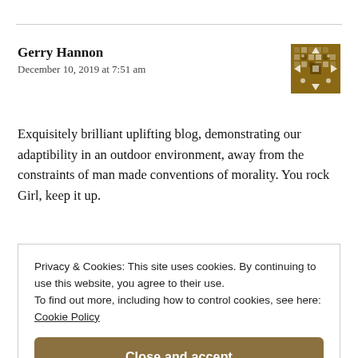Gerry Hannon
December 10, 2019 at 7:51 am
[Figure (illustration): Brown mosaic/pixel avatar icon for user Gerry Hannon]
Exquisitely brilliant uplifting blog, demonstrating our adaptibility in an outdoor environment, away from the constraints of man made conventions of morality. You rock Girl, keep it up.
Privacy & Cookies: This site uses cookies. By continuing to use this website, you agree to their use.
To find out more, including how to control cookies, see here:
Cookie Policy

Close and accept